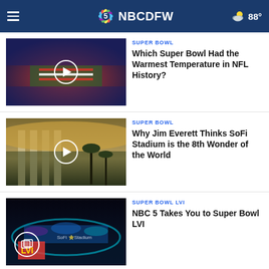NBC DFW — 88°
[Figure (screenshot): Aerial view of NFL stadium with American flag display on field, fans in stands]
Which Super Bowl Had the Warmest Temperature in NFL History?
SUPER BOWL
[Figure (screenshot): Exterior of SoFi Stadium with circular architecture and palm trees at dusk]
Why Jim Everett Thinks SoFi Stadium is the 8th Wonder of the World
SUPER BOWL LVI
[Figure (screenshot): SoFi Stadium illuminated at night with colorful lights reflected in water, LVI logo visible]
NBC 5 Takes You to Super Bowl LVI